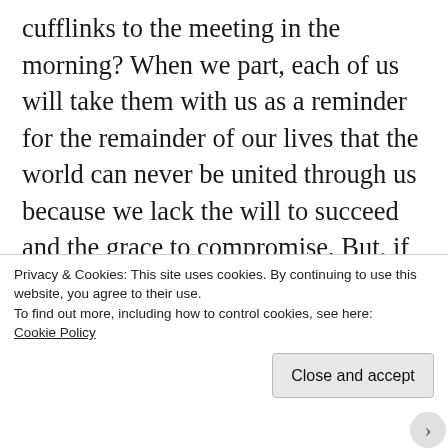cufflinks to the meeting in the morning? When we part, each of us will take them with us as a reminder for the remainder of our lives that the world can never be united through us because we lack the will to succeed and the grace to compromise. But, if by some miracle, our differences dissolve before morning, this gift will remind us to the day we die that the world was united because we had the will to succeed and
Privacy & Cookies: This site uses cookies. By continuing to use this website, you agree to their use.
To find out more, including how to control cookies, see here:
Cookie Policy
Close and accept